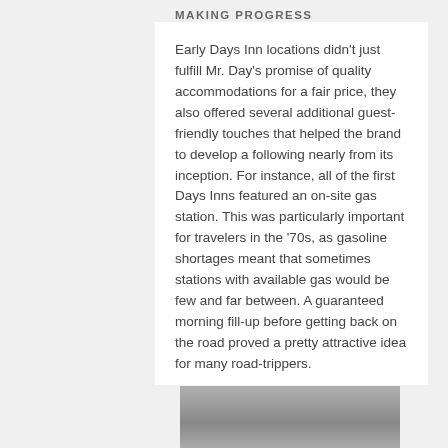MAKING PROGRESS
Early Days Inn locations didn't just fulfill Mr. Day's promise of quality accommodations for a fair price, they also offered several additional guest-friendly touches that helped the brand to develop a following nearly from its inception. For instance, all of the first Days Inns featured an on-site gas station. This was particularly important for travelers in the '70s, as gasoline shortages meant that sometimes stations with available gas would be few and far between. A guaranteed morning fill-up before getting back on the road proved a pretty attractive idea for many road-trippers.
[Figure (photo): A photograph partially visible at the bottom of the page, appears to be a road or outdoor scene in grayscale.]